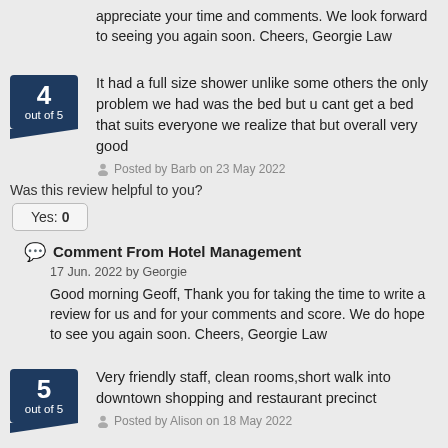appreciate your time and comments. We look forward to seeing you again soon. Cheers, Georgie Law
It had a full size shower unlike some others the only problem we had was the bed but u cant get a bed that suits everyone we realize that but overall very good
Posted by Barb on 23 May 2022
Was this review helpful to you?
Yes: 0
Comment From Hotel Management
17 Jun. 2022 by Georgie
Good morning Geoff, Thank you for taking the time to write a review for us and for your comments and score. We do hope to see you again soon. Cheers, Georgie Law
Very friendly staff, clean rooms,short walk into downtown shopping and restaurant precinct
Posted by Alison on 18 May 2022